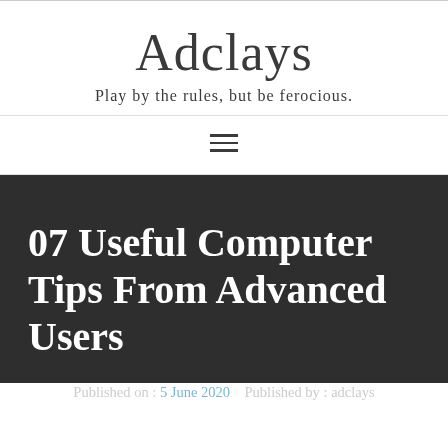Adclays
Play by the rules, but be ferocious.
[Figure (other): Hamburger menu icon (three horizontal lines)]
07 Useful Computer Tips From Advanced Users
Published on : 5 June 2020   Published by : adclays